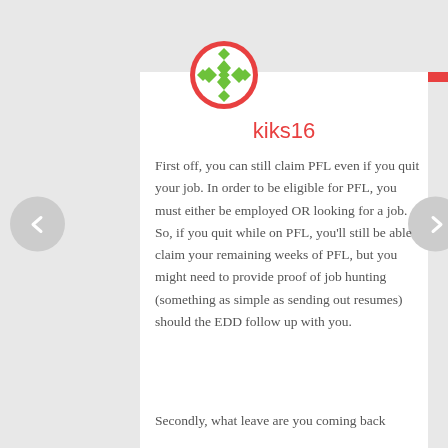[Figure (logo): Circular logo with red border and green geometric snowflake pattern on white background]
kiks16
First off, you can still claim PFL even if you quit your job. In order to be eligible for PFL, you must either be employed OR looking for a job. So, if you quit while on PFL, you'll still be able claim your remaining weeks of PFL, but you might need to provide proof of job hunting (something as simple as sending out resumes) should the EDD follow up with you.
Secondly, what leave are you coming back